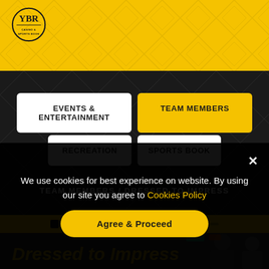[Figure (logo): YBR Casino & Sports Book circular logo in black and gold on yellow header background]
EVENTS & ENTERTAINMENT
TEAM MEMBERS
RECREATION
SPORTS BOOK
TEAM MEMBERS / DRESSED TO IMPRESS
[Figure (photo): Partial view of video/image strip showing two women in the casino environment]
We use cookies for best experience on website. By using our site you agree to Cookies Policy
Agree & Proceed